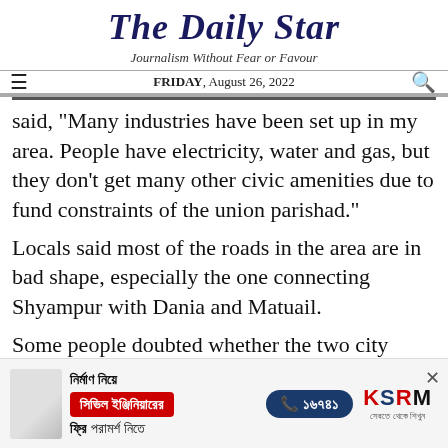The Daily Star
Journalism Without Fear or Favour
FRIDAY, August 26, 2022
said, "Many industries have been set up in my area. People have electricity, water and gas, but they don't get many other civic amenities due to fund constraints of the union parishad."
Locals said most of the roads in the area are in bad shape, especially the one connecting Shyampur with Dania and Matuail.
Some people doubted whether the two city
[Figure (advertisement): KSRM advertisement banner in Bengali: নির্মাণ নিয়ে, সিভিল ইঞ্জিনিয়ারের, ফ্রি পরামর্শ নিতে. Phone number ১৬৭৪১. KSRM brand logo.]